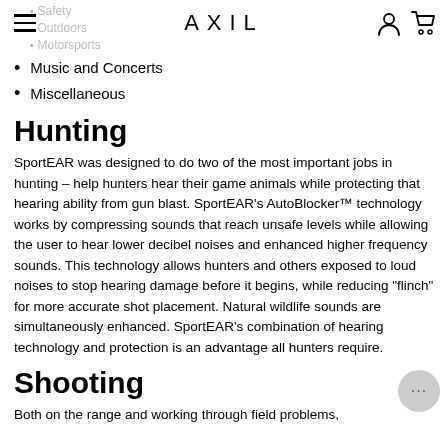AXIL
Safety
Outdoors
Motorsports
Music and Concerts
Miscellaneous
Hunting
SportEAR was designed to do two of the most important jobs in hunting – help hunters hear their game animals while protecting that hearing ability from gun blast. SportEAR's AutoBlocker™ technology works by compressing sounds that reach unsafe levels while allowing the user to hear lower decibel noises and enhanced higher frequency sounds. This technology allows hunters and others exposed to loud noises to stop hearing damage before it begins, while reducing "flinch" for more accurate shot placement. Natural wildlife sounds are simultaneously enhanced. SportEAR's combination of hearing technology and protection is an advantage all hunters require.
Shooting
Both on the range and working through field problems,